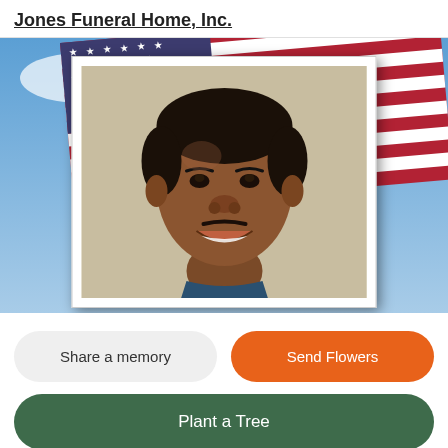Jones Funeral Home, Inc.
[Figure (photo): American flag waving against blue sky as background, with a framed portrait photo of a smiling Black man in the foreground]
Share a memory
Send Flowers
Plant a Tree